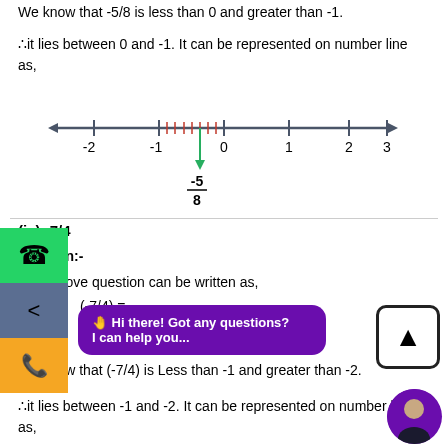We know that -5/8 is less than 0 and greater than -1.
∴it lies between 0 and -1. It can be represented on number line as,
[Figure (other): Number line from -2 to 3 with -5/8 marked between -1 and 0, indicated by a green arrow pointing down to the label -5/8]
(ix) -7/4
Solution:-
Now above question can be written as,
We know that (-7/4) is Less than -1 and greater than -2.
∴it lies between -1 and -2. It can be represented on number line as,